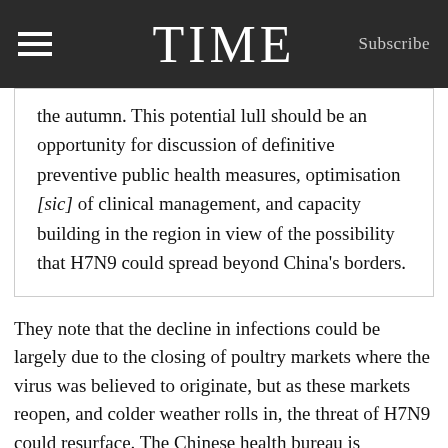TIME  Subscribe
the autumn. This potential lull should be an opportunity for discussion of definitive preventive public health measures, optimisation [sic] of clinical management, and capacity building in the region in view of the possibility that H7N9 could spread beyond China's borders.
They note that the decline in infections could be largely due to the closing of poultry markets where the virus was believed to originate, but as these markets reopen, and colder weather rolls in, the threat of H7N9 could resurface. The Chinese health bureau is monitoring suspicious flu cases, and officials at schools and hospitals are also on alert for flulike symptoms and respiratory illnesses, since influenza viruses tend to spread more quickly